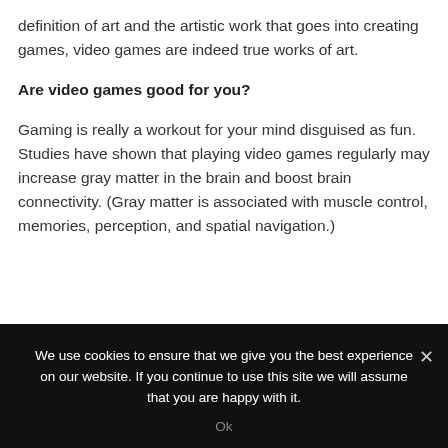definition of art and the artistic work that goes into creating games, video games are indeed true works of art.
Are video games good for you?
Gaming is really a workout for your mind disguised as fun. Studies have shown that playing video games regularly may increase gray matter in the brain and boost brain connectivity. (Gray matter is associated with muscle control, memories, perception, and spatial navigation.)
We use cookies to ensure that we give you the best experience on our website. If you continue to use this site we will assume that you are happy with it.
Ok